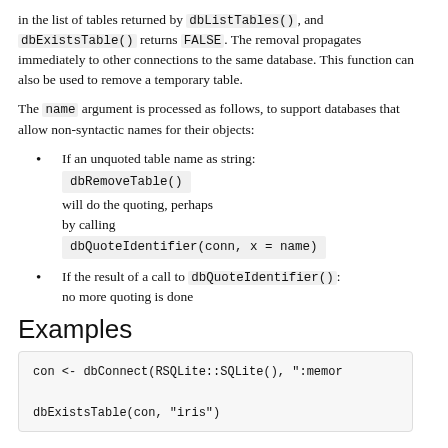in the list of tables returned by dbListTables(), and dbExistsTable() returns FALSE. The removal propagates immediately to other connections to the same database. This function can also be used to remove a temporary table.
The name argument is processed as follows, to support databases that allow non-syntactic names for their objects:
If an unquoted table name as string: dbRemoveTable() will do the quoting, perhaps by calling dbQuoteIdentifier(conn, x = name)
If the result of a call to dbQuoteIdentifier(): no more quoting is done
Examples
con <- dbConnect(RSQLite::SQLite(), ":memor
dbExistsTable(con, "iris")